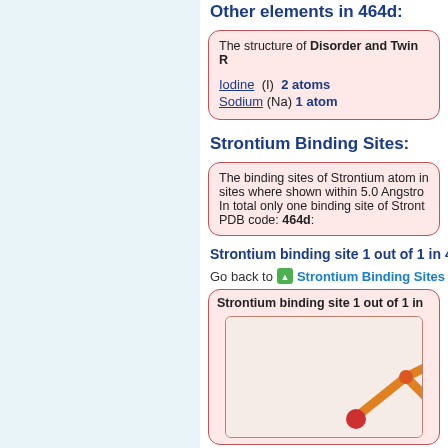Other elements in 464d:
The structure of Disorder and Twin R
Iodine (I) 2 atoms
Sodium (Na) 1 atom
Strontium Binding Sites:
The binding sites of Strontium atom in sites where shown within 5.0 Angstro In total only one binding site of Stront PDB code: 464d:
Strontium binding site 1 out of 1 in 4
Go back to Strontium Binding Sites Lis
Strontium binding site 1 out of 1 in
[Figure (illustration): 3D molecular structure visualization showing orange/red stick bonds of a strontium binding site]